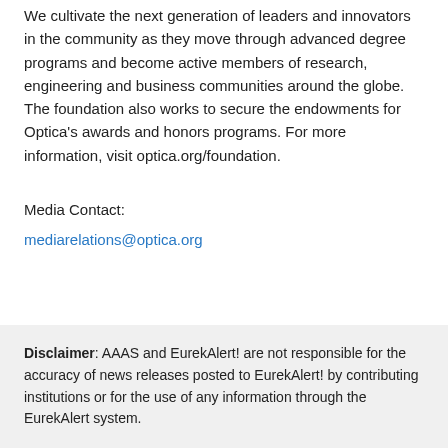We cultivate the next generation of leaders and innovators in the community as they move through advanced degree programs and become active members of research, engineering and business communities around the globe. The foundation also works to secure the endowments for Optica's awards and honors programs. For more information, visit optica.org/foundation.
Media Contact:
mediarelations@optica.org
Disclaimer: AAAS and EurekAlert! are not responsible for the accuracy of news releases posted to EurekAlert! by contributing institutions or for the use of any information through the EurekAlert system.